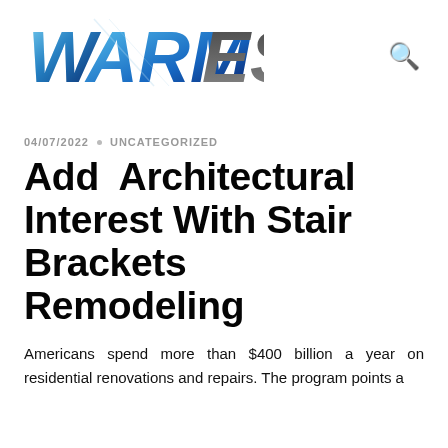[Figure (logo): WARMEST website logo with stylized W and blue gradient lettering, italic bold font]
04/07/2022 · UNCATEGORIZED
Add Architectural Interest With Stair Brackets Remodeling
Americans spend more than $400 billion a year on residential renovations and repairs. The program points a